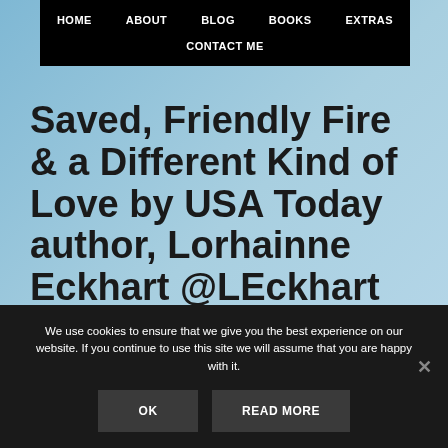HOME   ABOUT   BLOG   BOOKS   EXTRAS   CONTACT ME
Saved, Friendly Fire & a Different Kind of Love by USA Today author, Lorhainne Eckhart @LEckhart #mgfpf
We use cookies to ensure that we give you the best experience on our website. If you continue to use this site we will assume that you are happy with it.
OK   READ MORE